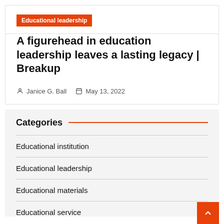Educational leadership
A figurehead in education leadership leaves a lasting legacy | Breakup
Janice G. Ball   May 13, 2022
Categories
Educational institution
Educational leadership
Educational materials
Educational service